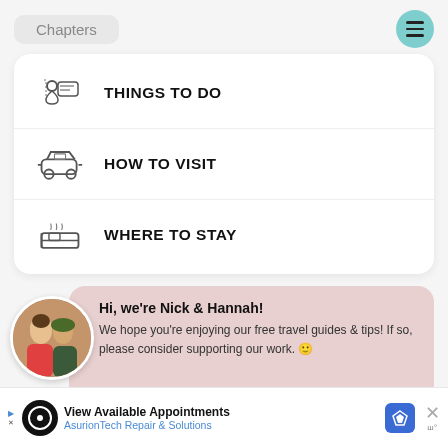Chapters
THINGS TO DO
HOW TO VISIT
WHERE TO STAY
Hi, we're Nick & Hannah! We hope you're enjoying our free travel guides & tips! If so, please consider supporting our work. 🙂
Click here →
View Available Appointments
Asurion Tech Repair & Solutions